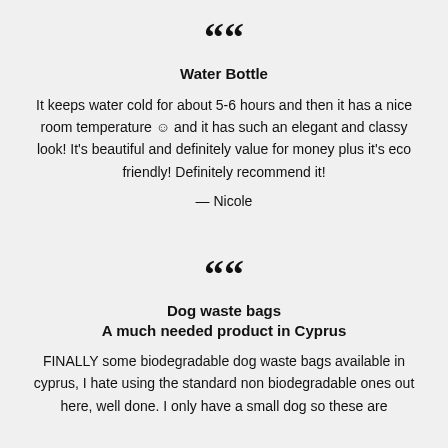““
Water Bottle
It keeps water cold for about 5-6 hours and then it has a nice room temperature © and it has such an elegant and classy look! It’s beautiful and definitely value for money plus it’s eco friendly! Definitely recommend it!
— Nicole
““
Dog waste bags
A much needed product in Cyprus
FINALLY some biodegradable dog waste bags available in cyprus, I hate using the standard non biodegradable ones out here, well done. I only have a small dog so these are